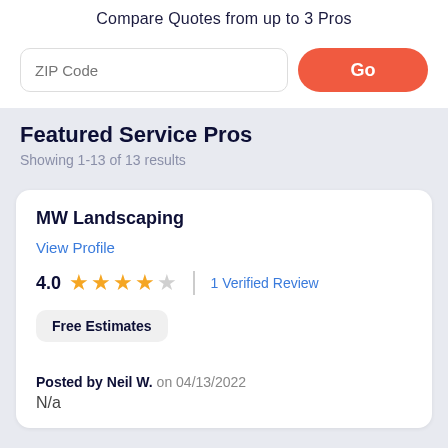Compare Quotes from up to 3 Pros
Featured Service Pros
Showing 1-13 of 13 results
MW Landscaping
View Profile
4.0 ★★★★☆ | 1 Verified Review
Free Estimates
Posted by Neil W. on 04/13/2022
N/a